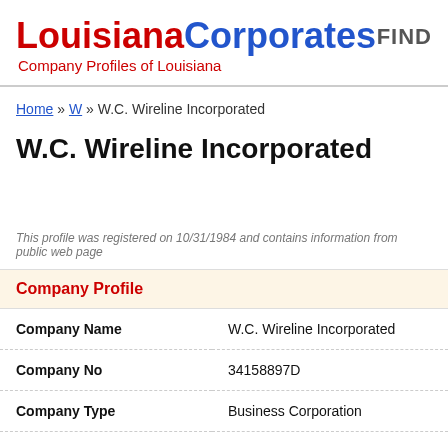LouisianaCorporates — Company Profiles of Louisiana
Home » W » W.C. Wireline Incorporated
W.C. Wireline Incorporated
This profile was registered on 10/31/1984 and contains information from public web page
Company Profile
| Field | Value |
| --- | --- |
| Company Name | W.C. Wireline Incorporated |
| Company No | 34158897D |
| Company Type | Business Corporation |